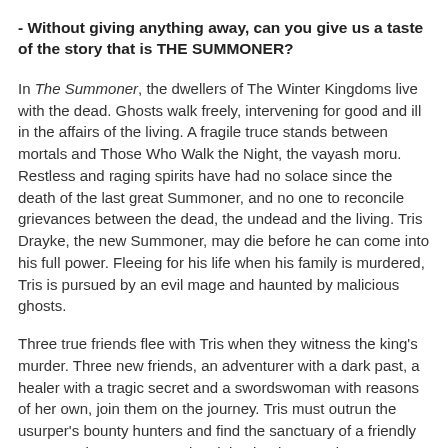- Without giving anything away, can you give us a taste of the story that is THE SUMMONER?
In The Summoner, the dwellers of The Winter Kingdoms live with the dead. Ghosts walk freely, intervening for good and ill in the affairs of the living. A fragile truce stands between mortals and Those Who Walk the Night, the vayash moru. Restless and raging spirits have had no solace since the death of the last great Summoner, and no one to reconcile grievances between the dead, the undead and the living. Tris Drayke, the new Summoner, may die before he can come into his full power. Fleeing for his life when his family is murdered, Tris is pursued by an evil mage and haunted by malicious ghosts.
Three true friends flee with Tris when they witness the king's murder. Three new friends, an adventurer with a dark past, a healer with a tragic secret and a swordswoman with reasons of her own, join them on the journey. Tris must outrun the usurper's bounty hunters and find the sanctuary of a friendly court to raise an army and reclaim the throne. His greatest